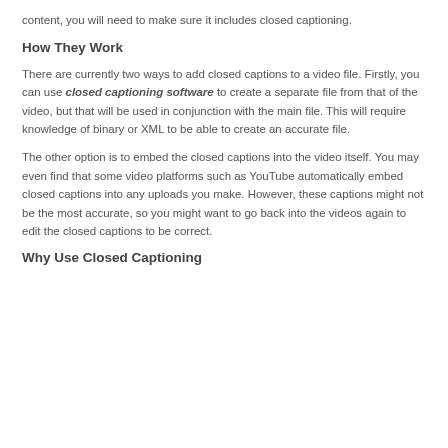content, you will need to make sure it includes closed captioning.
How They Work
There are currently two ways to add closed captions to a video file. Firstly, you can use closed captioning software to create a separate file from that of the video, but that will be used in conjunction with the main file. This will require knowledge of binary or XML to be able to create an accurate file.
The other option is to embed the closed captions into the video itself. You may even find that some video platforms such as YouTube automatically embed closed captions into any uploads you make. However, these captions might not be the most accurate, so you might want to go back into the videos again to edit the closed captions to be correct.
Why Use Closed Captioning